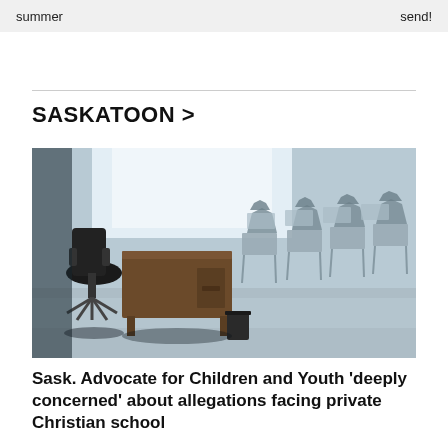summer   send!
SASKATOON >
[Figure (photo): Empty classroom with a teacher's desk in the foreground, a black office chair, and rows of student desks with chairs stacked on top, bright windows in the background.]
Sask. Advocate for Children and Youth 'deeply concerned' about allegations facing private Christian school